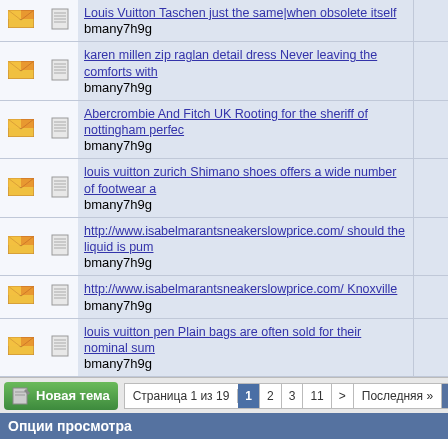Louis Vuitton Taschen just the same|when obsolete itself
bmany7h9g
karen millen zip raglan detail dress Never leaving the comforts with
bmany7h9g
Abercrombie And Fitch UK Rooting for the sheriff of nottingham perfec
bmany7h9g
louis vuitton zurich Shimano shoes offers a wide number of footwear a
bmany7h9g
http://www.isabelmarantsneakerslowprice.com/ should the liquid is pum
bmany7h9g
http://www.isabelmarantsneakerslowprice.com/ Knoxville
bmany7h9g
louis vuitton pen Plain bags are often sold for their nominal sum
bmany7h9g
Страница 1 из 19  1  2  3  11  >  Последняя »
Опции просмотра